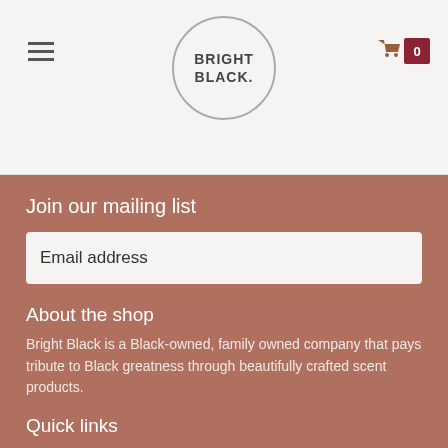BRIGHT BLACK. (logo with hamburger menu and cart showing 0)
Join our mailing list
Email address
About the shop
Bright Black is a Black-owned, family owned company that pays tribute to Black greatness through beautifully crafted scent products.
Quick links
Shop
About